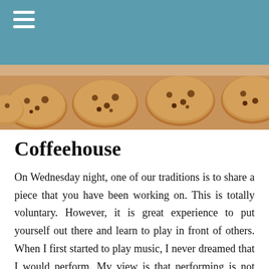[Figure (photo): Blue navigation bar with white hamburger menu icon at top left]
[Figure (photo): Banner image showing chocolate chip cookies arranged in a row, viewed from above at an angle]
Coffeehouse
On Wednesday night, one of our traditions is to share a piece that you have been working on. This is totally voluntary. However, it is great experience to put yourself out there and learn to play in front of others. When I first started to play music, I never dreamed that I would perform. My view is that performing is not about us but about the music that we love. While there is absolutely no pressure to do so, we encourage folks to play for the group. Often ML and/or I will play with you. ML will play your exact part while Ken may